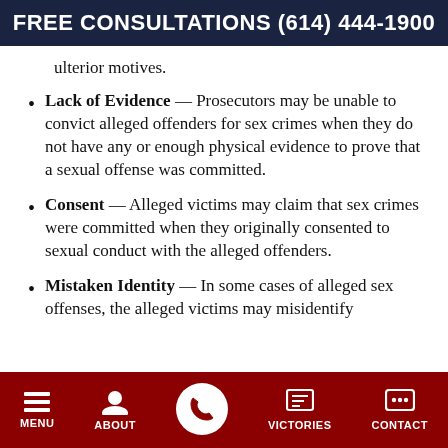FREE CONSULTATIONS (614) 444-1900
ulterior motives.
Lack of Evidence — Prosecutors may be unable to convict alleged offenders for sex crimes when they do not have any or enough physical evidence to prove that a sexual offense was committed.
Consent — Alleged victims may claim that sex crimes were committed when they originally consented to sexual conduct with the alleged offenders.
Mistaken Identity — In some cases of alleged sex offenses, the alleged victims may misidentify
MENU | ABOUT | (phone) | VICTORIES | CONTACT